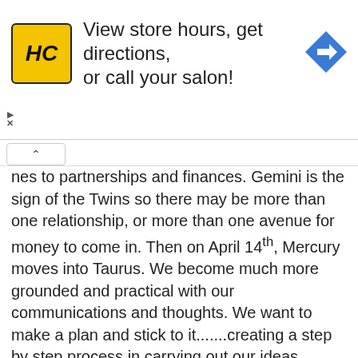[Figure (infographic): Advertisement banner for Hair Club (HC) showing yellow logo with HC text, text reading 'View store hours, get directions, or call your salon!' and a blue diamond navigation arrow icon on the right.]
nes to partnerships and finances. Gemini is the sign of the Twins so there may be more than one relationship, or more than one avenue for money to come in. Then on April 14th, Mercury moves into Taurus. We become much more grounded and practical with our communications and thoughts. We want to make a plan and stick to it.......creating a step by step process in carrying out our ideas.
On April 14th and 15th, Venus in Gemini will oppose Saturn in Sagittarius. We may experience some interesting energies involving freedom and our ideas about relationships at this time. It could also bring some constraints with fi...